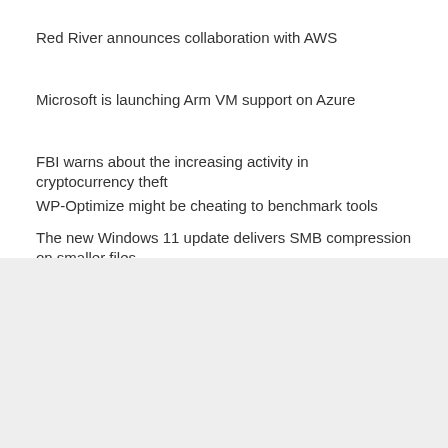Red River announces collaboration with AWS
Microsoft is launching Arm VM support on Azure
FBI warns about the increasing activity in cryptocurrency theft
WP-Optimize might be cheating to benchmark tools
The new Windows 11 update delivers SMB compression on smaller files